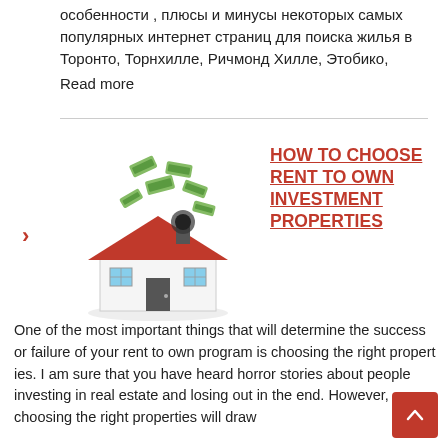особенности , плюсы и минусы некоторых самых популярных интернет страниц для поиска жилья в Торонто, Торнхилле, Ричмонд Хилле, Этобико,
Read more
[Figure (illustration): Illustration of a house model with dollar bills flying out of it]
HOW TO CHOOSE RENT TO OWN INVESTMENT PROPERTIES
One of the most important things that will determine the success or failure of your rent to own program is choosing the right propert ies. I am sure that you have heard horror stories about people investing in real estate and losing out in the end. However, choosing the right properties will draw the right type of tenants and encourage investment...